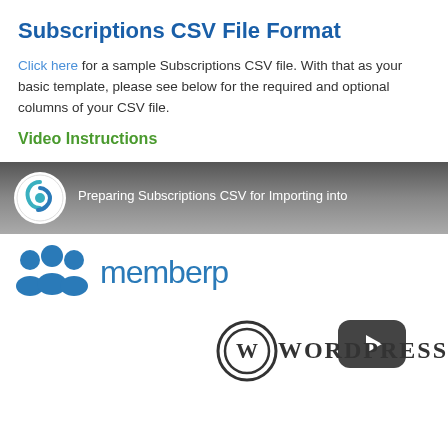Subscriptions CSV File Format
Click here for a sample Subscriptions CSV file. With that as your basic template, please see below for the required and optional columns of your CSV file.
Video Instructions
[Figure (screenshot): Embedded video thumbnail showing 'Preparing Subscriptions CSV for Importing into' with MemberPress logo and WordPress branding, including a YouTube-style play button overlay.]